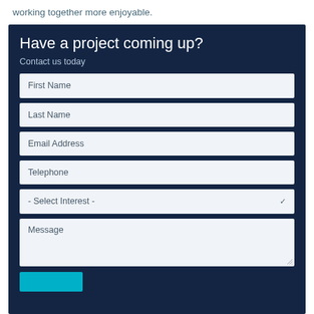working together more enjoyable.
Have a project coming up?
Contact us today
First Name
Last Name
Email Address
Telephone
- Select Interest -
Message